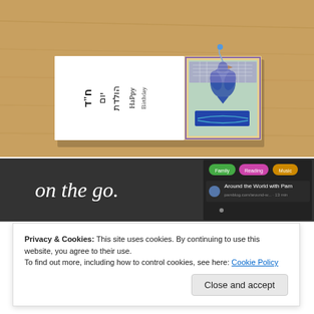[Figure (photo): A photograph on a wooden table surface showing a folded greeting card with Hebrew/Jewish text and decorative medieval-style illuminated artwork with a bird figure in blue and gold colors.]
[Figure (screenshot): A partial screenshot of a website or app with dark background showing text 'on the go.' in white, and a mobile app interface showing podcast or reading categories including Family, Reading, Music, and a listing for 'Around the World with Pam'.]
Privacy & Cookies: This site uses cookies. By continuing to use this website, you agree to their use.
To find out more, including how to control cookies, see here: Cookie Policy
Close and accept